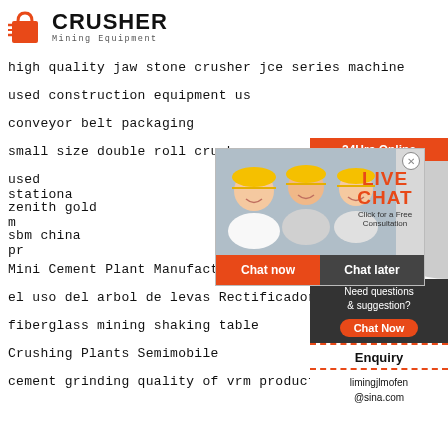[Figure (logo): Crusher Mining Equipment logo with red shopping bag icon and bold CRUSHER text]
high quality jaw stone crusher jce series machine
used construction equipment us
conveyor belt packaging
small size double roll crushers
used stationa...
zenith gold m...
sbm china pr...
Mini Cement Plant Manufacturers
el uso del arbol de levas Rectificadora
fiberglass mining shaking table
Crushing Plants Semimobile
cement grinding quality of vrm product
[Figure (photo): Sidebar: 24Hrs Online banner, female customer service agent with headset, Need questions & suggestion section, Chat Now button, Enquiry section, limingjlmofen@sina.com email]
[Figure (photo): Live Chat popup overlay with workers in hard hats, LIVE CHAT title, Click for a Free Consultation, Chat now and Chat later buttons]